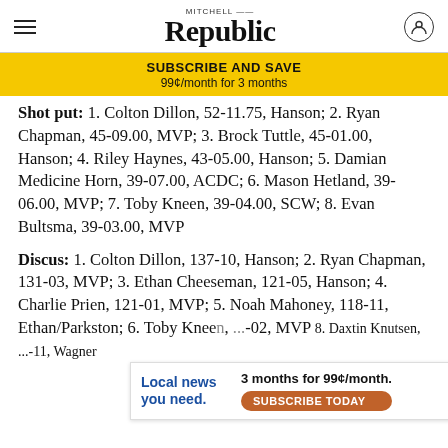Mitchell Republic
SUBSCRIBE AND SAVE 99¢/month for 3 months
Shot put: 1. Colton Dillon, 52-11.75, Hanson; 2. Ryan Chapman, 45-09.00, MVP; 3. Brock Tuttle, 45-01.00, Hanson; 4. Riley Haynes, 43-05.00, Hanson; 5. Damian Medicine Horn, 39-07.00, ACDC; 6. Mason Hetland, 39-06.00, MVP; 7. Toby Kneen, 39-04.00, SCW; 8. Evan Bultsma, 39-03.00, MVP
Discus: 1. Colton Dillon, 137-10, Hanson; 2. Ryan Chapman, 131-03, MVP; 3. Ethan Cheeseman, 121-05, Hanson; 4. Charlie Prien, 121-01, MVP; 5. Noah Mahoney, 118-11, Ethan/Parkston; 6. Toby Knee[n], [...]-02, MVP; 8. Daxtin Knutsen, [...]-11, Wagner
[Figure (infographic): Advertisement banner: 'Local news you need.' with '3 months for 99¢/month. SUBSCRIBE TODAY' button]